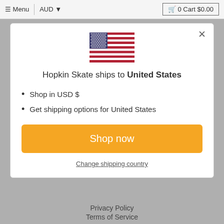≡ Menu  |  AUD ▾  🛒 0 Cart $0.00
[Figure (illustration): American flag (Stars and Stripes)]
Hopkin Skate ships to United States
Shop in USD $
Get shipping options for United States
Shop now
Change shipping country
Privacy Policy
Terms of Service